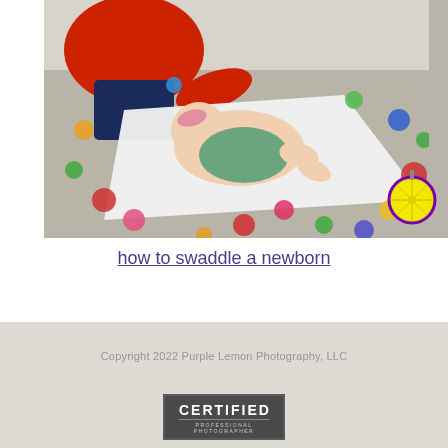[Figure (photo): Overhead view of a person in a red shirt leaning over a baby lying on a white blanket on a colorful polka-dot carpet. A lemon slice logo/icon is visible in the bottom-right corner of the photo.]
how to swaddle a newborn
Copyright 2022 Purple Lemon Photography, LLC
[Figure (logo): Certified Professional Photographer badge - dark rectangle with 'CERTIFIED' in bold white text and 'PROFESSIONAL PHOTOGRAPHER' in smaller text below.]